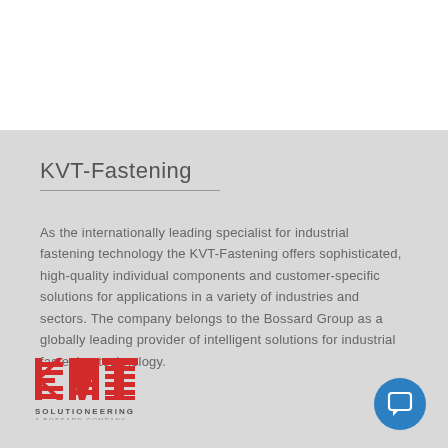KVT-Fastening
As the internationally leading specialist for industrial fastening technology the KVT-Fastening offers sophisticated, high-quality individual components and customer-specific solutions for applications in a variety of industries and sectors. The company belongs to the Bossard Group as a globally leading provider of intelligent solutions for industrial fastening technology.
[Figure (logo): KVT Solutioneering - A Bossard Company logo with red striped KVT lettering]